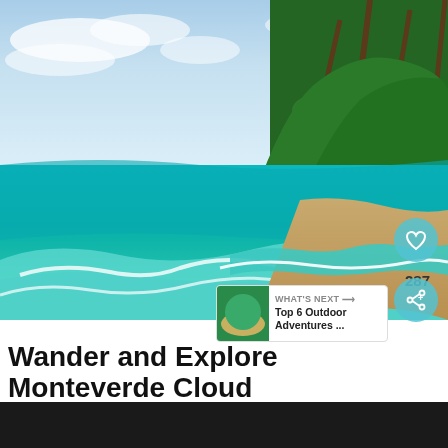[Figure (photo): Tropical beach scene with turquoise ocean waves, white sand beach, and lush palm trees and rainforest on rocky coastline under partly cloudy blue sky]
Wander and Explore Monteverde Cloud
Fore
[Figure (other): Advertisement banner: yello MARKETING DIGITAL de tu NEGOCIO, Construyello, Contactanos]
[Figure (logo): Wattpad W logo icon]